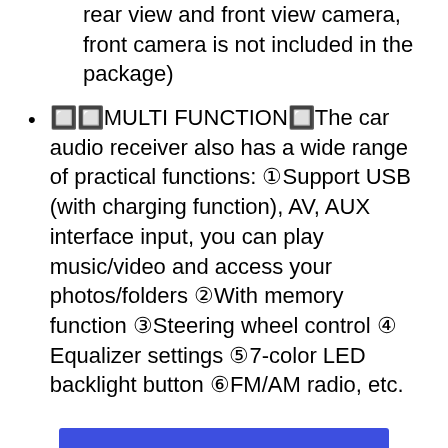rear view and front view camera, front camera is not included in the package)
🔲🔲MULTI FUNCTION🔲The car audio receiver also has a wide range of practical functions: ①Support USB (with charging function), AV, AUX interface input, you can play music/video and access your photos/folders ②With memory function ③Steering wheel control ④ Equalizer settings ⑤7-color LED backlight button ⑥FM/AM radio, etc.
[Figure (other): View on Amazon button - blue rectangular button with white bold text]
3. Double Din Car Stereo Receiver: 7 Inch HD